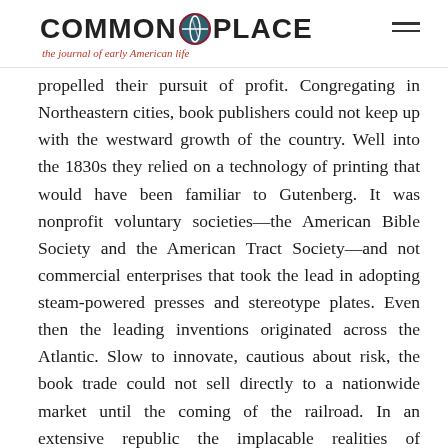COMMON-PLACE the journal of early American life
propelled their pursuit of profit. Congregating in Northeastern cities, book publishers could not keep up with the westward growth of the country. Well into the 1830s they relied on a technology of printing that would have been familiar to Gutenberg. It was nonprofit voluntary societies—the American Bible Society and the American Tract Society—and not commercial enterprises that took the lead in adopting steam-powered presses and stereotype plates. Even then the leading inventions originated across the Atlantic. Slow to innovate, cautious about risk, the book trade could not sell directly to a nationwide market until the coming of the railroad. In an extensive republic the implacable realities of geography favored reliance